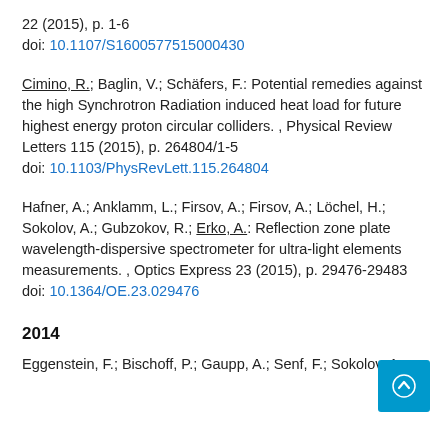22 (2015), p. 1-6
doi: 10.1107/S1600577515000430
Cimino, R.; Baglin, V.; Schäfers, F.: Potential remedies against the high Synchrotron Radiation induced heat load for future highest energy proton circular colliders. , Physical Review Letters 115 (2015), p. 264804/1-5
doi: 10.1103/PhysRevLett.115.264804
Hafner, A.; Anklamm, L.; Firsov, A.; Firsov, A.; Löchel, H.; Sokolov, A.; Gubzokov, R.; Erko, A.: Reflection zone plate wavelength-dispersive spectrometer for ultra-light elements measurements. , Optics Express 23 (2015), p. 29476-29483
doi: 10.1364/OE.23.029476
2014
Eggenstein, F.; Bischoff, P.; Gaupp, A.; Senf, F.; Sokolov, A.: